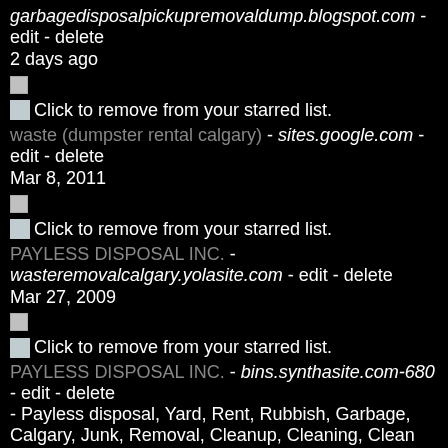garbagedisposalpickupremovaldump.blogspot.com - edit - delete
2 days ago
[Figure (other): Checkbox (small white square)]
Click to remove from your starred list.
waste (dumpster rental calgary) - sites.google.com - edit - delete
Mar 8, 2011
[Figure (other): Checkbox (small white square)]
Click to remove from your starred list.
PAYLESS DISPOSAL INC. - wasteremovalcalgary.yolasite.com - edit - delete
Mar 27, 2009
[Figure (other): Checkbox (small white square)]
Click to remove from your starred list.
PAYLESS DISPOSAL INC. - bins.synthasite.com-680 - edit - delete
- Payless disposal, Yard, Rent, Rubbish, Garbage, Calgary, Junk, Removal, Cleanup, Cleaning, Clean Up, Electronic